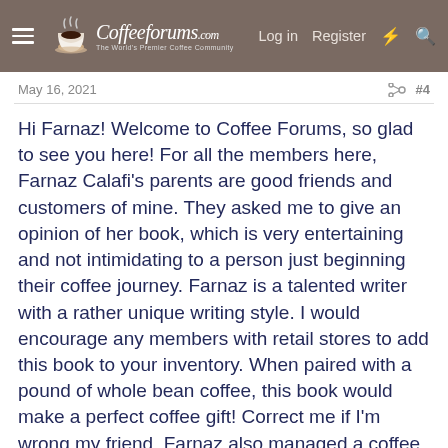CoffeeForums.com  Log in  Register
May 16, 2021  #4
Hi Farnaz! Welcome to Coffee Forums, so glad to see you here! For all the members here, Farnaz Calafi's parents are good friends and customers of mine. They asked me to give an opinion of her book, which is very entertaining and not intimidating to a person just beginning their coffee journey. Farnaz is a talented writer with a rather unique writing style. I would encourage any members with retail stores to add this book to your inventory. When paired with a pound of whole bean coffee, this book would make a perfect coffee gift! Correct me if I'm wrong my friend, Farnaz also managed a coffee blog for an online news site in New York city. Glad to have you here Farnaz!!!